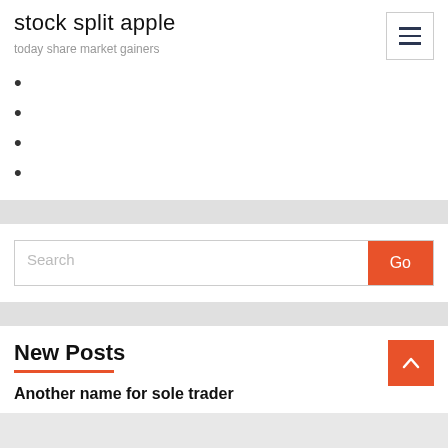stock split apple
today share market gainers
Search
New Posts
Another name for sole trader